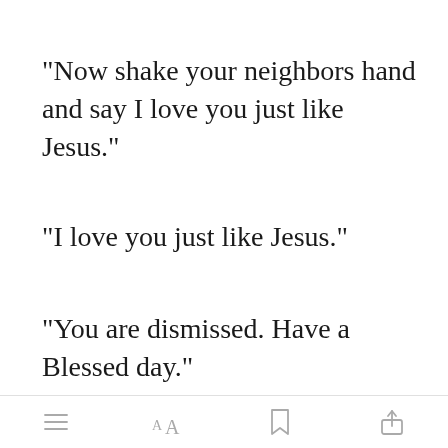"Now shake your neighbors hand and say I love you just like Jesus."
"I love you just like Jesus."
"You are dismissed. Have a Blessed day."
Everyone bega[Open in app]ve while Sam and Britt...
[menu icon] [font size icon] [bookmark icon] [share icon]